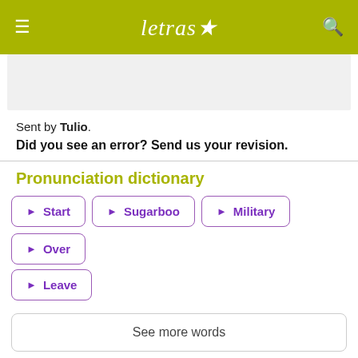letras
[Figure (other): Gray advertisement area]
Sent by Tulio.
Did you see an error? Send us your revision.
Pronunciation dictionary
▶ Start
▶ Sugarboo
▶ Military
▶ Over
▶ Leave
See more words